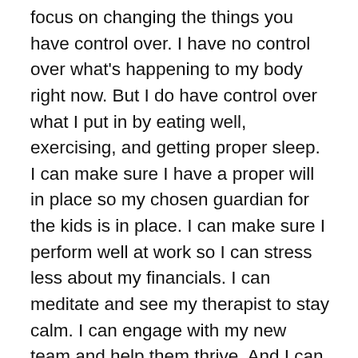focus on changing the things you have control over. I have no control over what's happening to my body right now. But I do have control over what I put in by eating well, exercising, and getting proper sleep. I can make sure I have a proper will in place so my chosen guardian for the kids is in place. I can make sure I perform well at work so I can stress less about my financials. I can meditate and see my therapist to stay calm. I can engage with my new team and help them thrive. And I can figure out the rest as it happens. It's the only thing I can do right now, so that's what I'll do. Obsessing about everything that can go wrong will only make everything worse, and I'm already scared enough. The best way to combat anxiety is to just breathe and focus on what's fixable, and then deal with the rest when it comes. It'll keep my fears and insecurities and other feelings at a manageable level until the next step